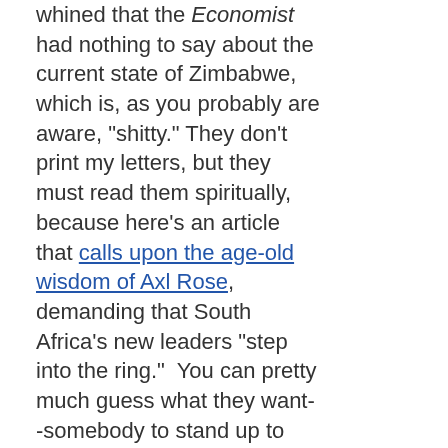whined that the Economist had nothing to say about the current state of Zimbabwe, which is, as you probably are aware, "shitty." They don't print my letters, but they must read them spiritually, because here's an article that calls upon the age-old wisdom of Axl Rose, demanding that South Africa's new leaders "step into the ring."  You can pretty much guess what they want--somebody to stand up to Mugabe--but that